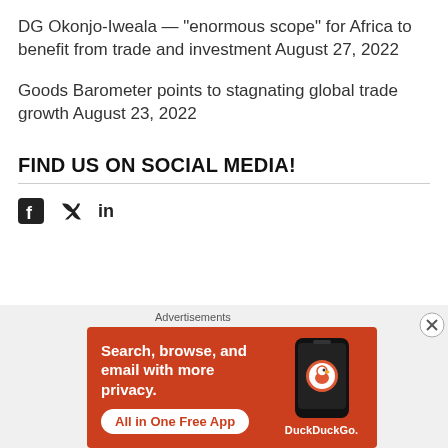DG Okonjo-Iweala — “enormous scope” for Africa to benefit from trade and investment August 27, 2022
Goods Barometer points to stagnating global trade growth August 23, 2022
FIND US ON SOCIAL MEDIA!
[Figure (infographic): Social media icons: Facebook, Twitter, LinkedIn]
[Figure (infographic): DuckDuckGo advertisement banner: Search, browse, and email with more privacy. All in One Free App. Shows a phone with DuckDuckGo logo.]